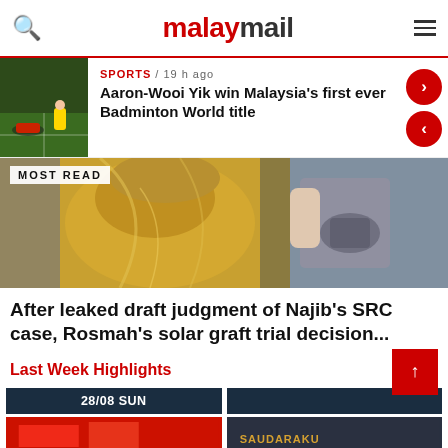malaymail
SPORTS / 19 h ago
Aaron-Wooi Yik win Malaysia's first ever Badminton World title
MOST READ
[Figure (photo): Photo of a woman in golden/ornate clothing and headscarf, partial view of another person in grey jacket beside her]
After leaked draft judgment of Najib's SRC case, Rosmah's solar graft trial decision...
Last Week Highlights
28/08 SUN